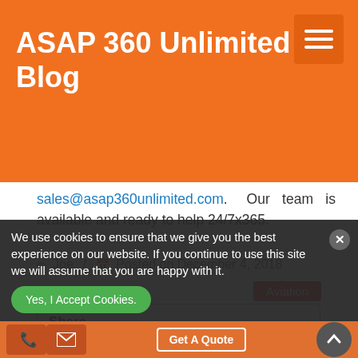ASAP 360 Unlimited Blog
sales@asap360unlimited.com. Our team is available and ready to help 24/7x365.
Joe / Posted on December 4, 2018
Aviation
Share
We use cookies to ensure that we give you the best experience on our website. If you continue to use this site we will assume that you are happy with it.
Yes, I Accept Cookies.